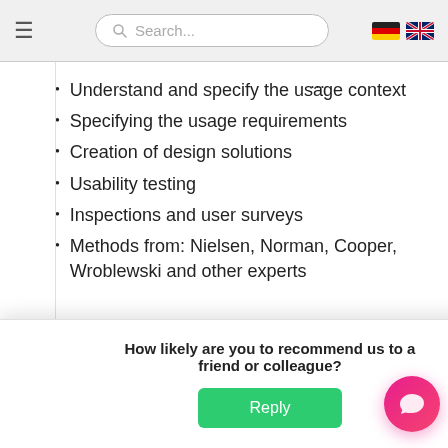[Figure (screenshot): Navigation bar with hamburger menu, search box, and language flags (German and UK)]
Understand and specify the usage context
Specifying the usage requirements
Creation of design solutions
Usability testing
Inspections and user surveys
Methods from: Nielsen, Norman, Cooper, Wroblewski and other experts
Got any questions? I'm happy to help. Haben Sie Fragen?
How likely are you to recommend us to a friend or colleague?